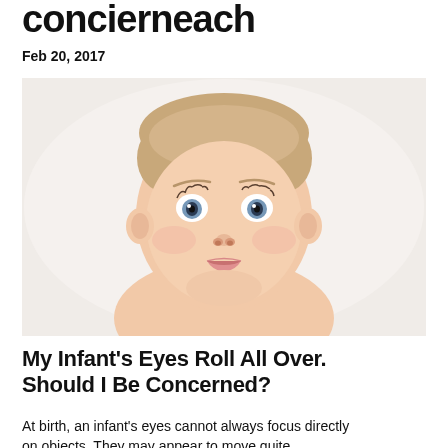concierneach
Feb 20, 2017
[Figure (photo): A baby with blue eyes looking up at the camera, fair skin, light brown hair, photographed against a white background.]
My Infant's Eyes Roll All Over. Should I Be Concerned?
At birth, an infant's eyes cannot always focus directly on objects. They may appear to move quite